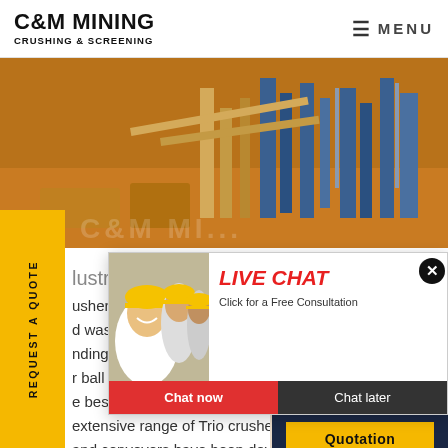C&M MINING CRUSHING & SCREENING | MENU
[Figure (photo): Industrial mining/crushing and screening facility with yellow equipment and machinery, orange/brown landscape]
[Figure (photo): Worker in yellow hard hat and white shirt smiling, with other workers in hard hats behind her]
lustrial
usherss
d washe
nding milling gold mining equipr
r ball rock slider as well as the w
e best matting in the industry C
extensive range of Trio crushers s
and conveyors have been develo
aggregate mining
REQUEST A QUOTE
[Figure (screenshot): Live Chat popup: 'LIVE CHAT Click for a Free Consultation' with Chat now and Chat later buttons]
[Figure (photo): Customer service woman with headset smiling]
Have any requests, click here.
Quotation